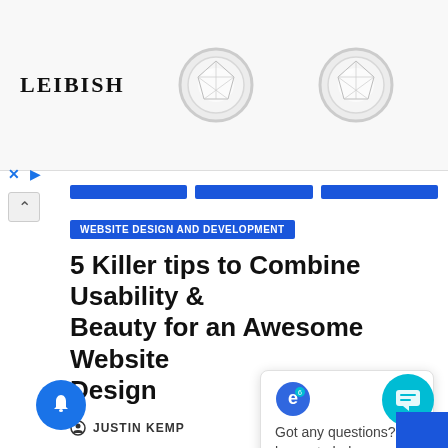[Figure (screenshot): Advertisement banner for LEIBISH jewelry showing two diamond stud earrings on light background with LEIBISH logo on left]
× ▷
[Figure (screenshot): Navigation tabs in blue]
WEBSITE DESIGN AND DEVELOPMENT
5 Killer tips to Combine Usability & Beauty for an Awesome Website Design
JUSTIN KEMP
Modern customers are perfection in all busines: why it is important...
[Figure (screenshot): Chat popup widget with logo, close button, and message: Got any questions? I'm happy to help.]